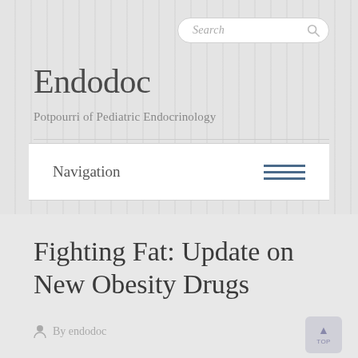[Figure (screenshot): Search bar with magnifying glass icon, rounded rectangle style]
Endodoc
Potpourri of Pediatric Endocrinology
Navigation
Fighting Fat: Update on New Obesity Drugs
By endodoc